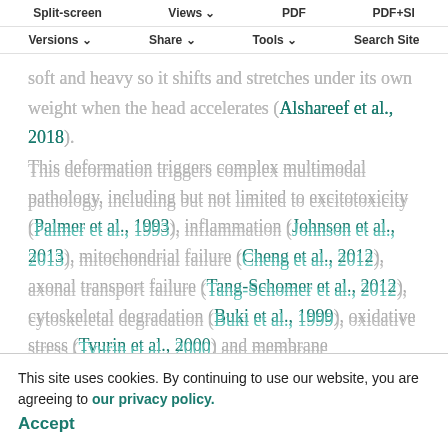Split-screen | Views | PDF | PDF+SI | Versions | Share | Tools | Search Site
soft and heavy so it shifts and stretches under its own weight when the head accelerates (Alshareef et al., 2018). This deformation triggers complex multimodal pathology, including but not limited to excitotoxicity (Palmer et al., 1993), inflammation (Johnson et al., 2013), mitochondrial failure (Cheng et al., 2012), axonal transport failure (Tang-Schomer et al., 2012), cytoskeletal degradation (Buki et al., 1999), oxidative stress (Tyurin et al., 2000) and membrane permeabilization (Pettus et al., 1994). These pathologies can be reproduced using agents ranging from cytokines to toxins to detergents but it is not trivial to reproduce them simultaneously with the right intensity and time course to reproduce clinical TBI. An attractive alternative is to apply biofidelic deformation to a biofidelic surrogate for the human brain and let these pathologies emerge spontaneously.
This site uses cookies. By continuing to use our website, you are agreeing to our privacy policy. Accept